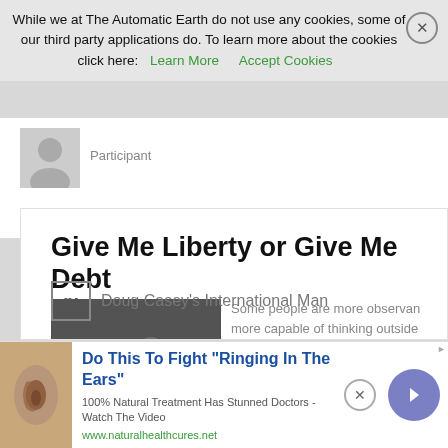While we at The Automatic Earth do not use any cookies, some of our third party applications do. To learn more about the cookies click here: Learn More   Accept Cookies
Participant
Give Me Liberty or Give Me Debt
[Figure (photo): Black and white historical painting/photo of a man giving a speech to a crowd]
Some people are more observan more capable of thinking outside Whether this is by nature or nurt
Doug Casey's International Man
Do This To Fight "Ringing In The Ears"
100% Natural Treatment Has Stunned Doctors - Watch The Video
www.naturalhealthcures.net